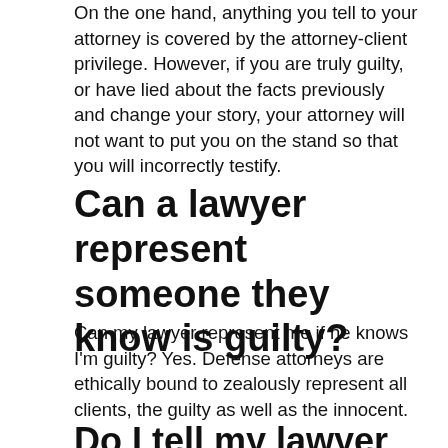On the one hand, anything you tell to your attorney is covered by the attorney-client privilege. However, if you are truly guilty, or have lied about the facts previously and change your story, your attorney will not want to put you on the stand so that you will incorrectly testify.
Can a lawyer represent someone they know is guilty?
Can my lawyer represent me if he knows I'm guilty? Yes. Defense attorneys are ethically bound to zealously represent all clients, the guilty as well as the innocent.
Do I tell my lawyer the